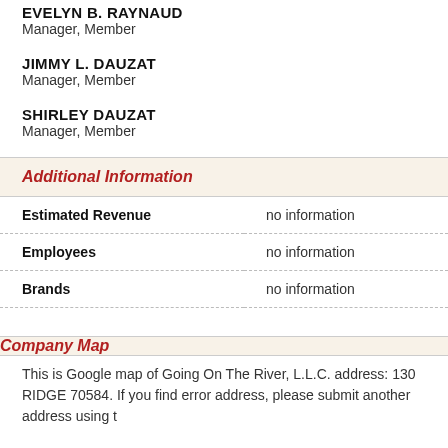EVELYN B. RAYNAUD
Manager, Member
JIMMY L. DAUZAT
Manager, Member
SHIRLEY DAUZAT
Manager, Member
Additional Information
| Field | Value |
| --- | --- |
| Estimated Revenue | no information |
| Employees | no information |
| Brands | no information |
Company Map
This is Google map of Going On The River, L.L.C. address: 130 RIDGE 70584. If you find error address, please submit another address using t